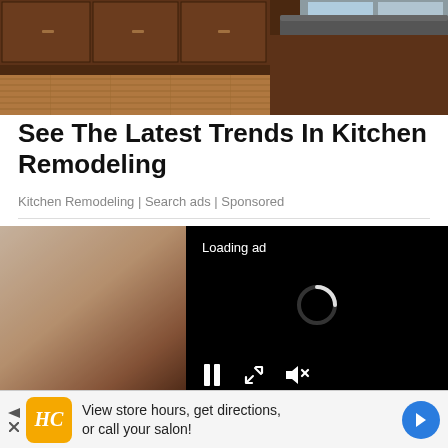[Figure (photo): Kitchen interior photo showing wooden cabinets, granite island counter with bar stools, and hardwood flooring]
See The Latest Trends In Kitchen Remodeling
Kitchen Remodeling | Search ads | Sponsored
[Figure (screenshot): Partial photo of a person with a black video overlay showing 'Loading ad' text, a loading spinner, and video playback controls (pause, expand, mute)]
[Figure (infographic): Bottom banner advertisement with HC (Hair Club) logo, text 'View store hours, get directions, or call your salon!' with navigation arrow and small play/close icons]